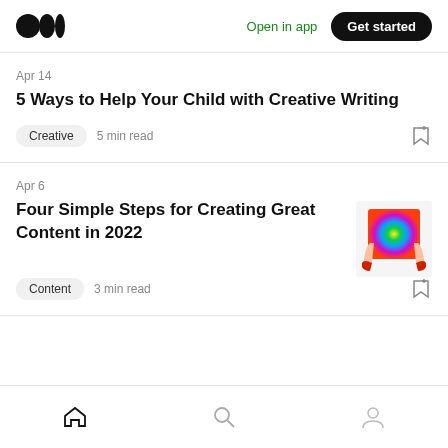Medium logo | Open in app | Get started
Apr 14
5 Ways to Help Your Child with Creative Writing
Creative  5 min read
Apr 6
Four Simple Steps for Creating Great Content in 2022
[Figure (photo): Hands holding a colorful rainbow tablet/canvas]
Content  3 min read
Home | Search | Profile navigation icons